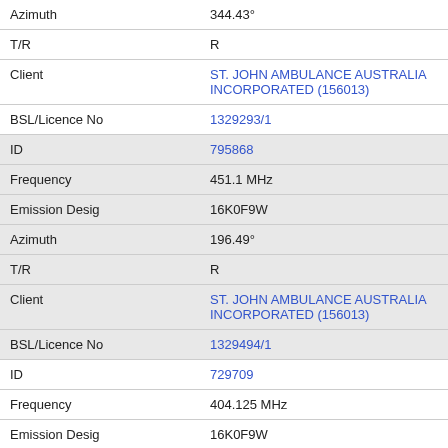| Azimuth | 344.43° |
| T/R | R |
| Client | ST. JOHN AMBULANCE AUSTRALIA INCORPORATED (156013) |
| BSL/Licence No | 1329293/1 |
| ID | 795868 |
| Frequency | 451.1 MHz |
| Emission Desig | 16K0F9W |
| Azimuth | 196.49° |
| T/R | R |
| Client | ST. JOHN AMBULANCE AUSTRALIA INCORPORATED (156013) |
| BSL/Licence No | 1329494/1 |
| ID | 729709 |
| Frequency | 404.125 MHz |
| Emission Desig | 16K0F9W |
| Azimuth | 71.29° |
| T/R | T |